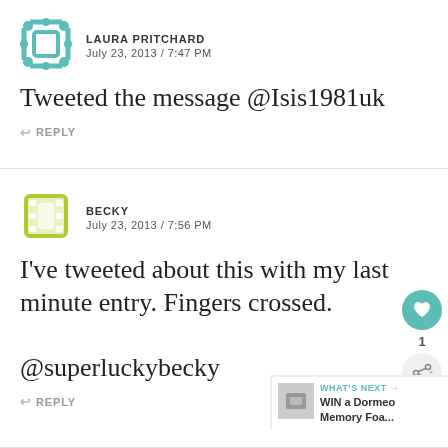[Figure (illustration): Teal square avatar icon for Laura Pritchard]
LAURA PRITCHARD
JULY 23, 2013 / 7:47 PM
Tweeted the message @Isis1981uk
↩ REPLY
[Figure (illustration): Yellow-green film strip avatar icon for Becky]
BECKY
JULY 23, 2013 / 7:56 PM
I've tweeted about this with my last minute entry. Fingers crossed.

@superluckybecky
↩ REPLY